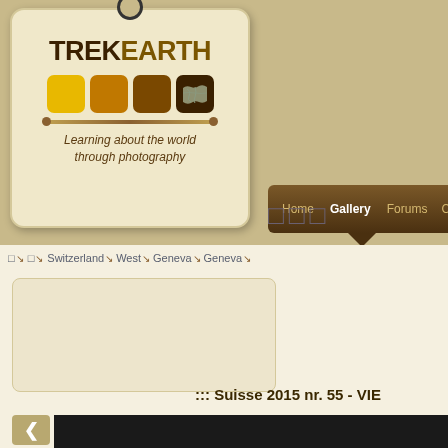[Figure (logo): TrekEarth logo — a tag-shaped badge with TREK EARTH text, four colored squares (yellow, brown, dark brown, darkest with world map icon), decorative line and tagline 'Learning about the world through photography']
Gallery
□→ □→ Switzerland→ West→ Geneva→ Geneva→
::: Suisse 2015 nr. 55 - VIE
[Figure (screenshot): Dark image placeholder at the bottom of the page]